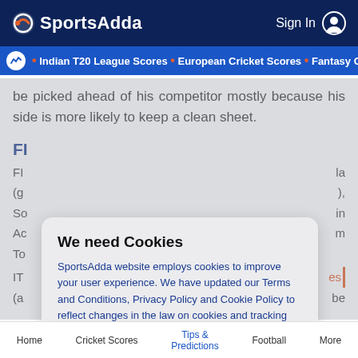SportsAdda  Sign In
Indian T20 League Scores • European Cricket Scores • Fantasy C
be picked ahead of his competitor mostly because his side is more likely to keep a clean sheet.
FI
FI ... la (g ... ), So ... in Ac ... m To
IT ... es (a ... be
[Figure (screenshot): Cookie consent modal overlay. Title: 'We need Cookies'. Body text: 'SportsAdda website employs cookies to improve your user experience. We have updated our Terms and Conditions, Privacy Policy and Cookie Policy to reflect changes in the law on cookies and tracking technologies used on websites. If you continue on this website, you will be providing your consent to our use of cookies.' Button: 'Agree']
Home  Cricket Scores  Tips & Predictions  Football  More